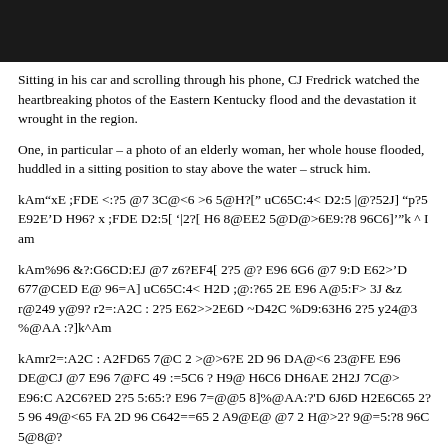[Figure (photo): Dark/black image bar at the top of the page]
Sitting in his car and scrolling through his phone, CJ Fredrick watched the heartbreaking photos of the Eastern Kentucky flood and the devastation it wrought in the region.
One, in particular – a photo of an elderly woman, her whole house flooded, huddled in a sitting position to stay above the water – struck him.
kAm“xE ;FDE <:?5 @7 3C@<6 >6 5@H?[” uC65C:4< D2:5 |@?52J] “p?5 E92E’D H96? x ;FDE D2:5[ ‘|2?[ H6 8@EE2 5@D@>6E9:?8 96C6]’”k ^ I am
kAm%96 &?:G6CD:EJ @7 z6?EF4[ 2?5 @? E96 6G6 @7 9:D E62>’D 677@CED E@ 96=A] uC65C:4< H2D ;@:?65 2E E96 A@5:F> 3J &z r@249 y@9? r2=:A2C : 2?5 E62>>2E6D ~D42C %D9:63H6 2?5 y24@3 %@AA :?]k^Am
kAmr2=:A2C : A2FD65 7@C 2 >@>6?E 2D 96 DA@<6 23@FE E96 DE@CJ @7 E96 7@FC 49 :=5C6 ? H9@ H6C6 DH6AE 2H2J 7C@> E96:C A2C6?ED 2?5 5:65:? E96 7=@@5 8]%@AA:?'D 6J6D H2E6C65 2?5 96 49@<65 FA 2D 96 C642==65 2 A9@E@ @7 2 H@>2? 9@=5:?8 96C 5@8@?